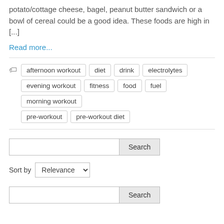potato/cottage cheese, bagel, peanut butter sandwich or a bowl of cereal could be a good idea. These foods are high in [...]
Read more...
afternoon workout  diet  drink  electrolytes  evening workout  fitness  food  fuel  morning workout  pre-workout  pre-workout diet